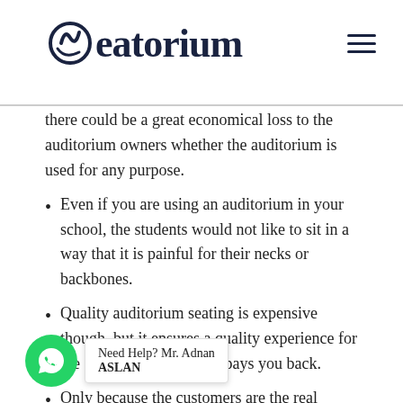Seatorium
there could be a great economical loss to the auditorium owners whether the auditorium is used for any purpose.
Even if you are using an auditorium in your school, the students would not like to sit in a way that it is painful for their necks or backbones.
Quality auditorium seating is expensive though, but it ensures a quality experience for the customers and it also pays you back.
Only because the customers are the real investment and return for any company. If the people are satisfied with the auditorium seating, they would come back again next time and in this way without any marketing, just by providing quality and comfortable auditorium, you can attract more and